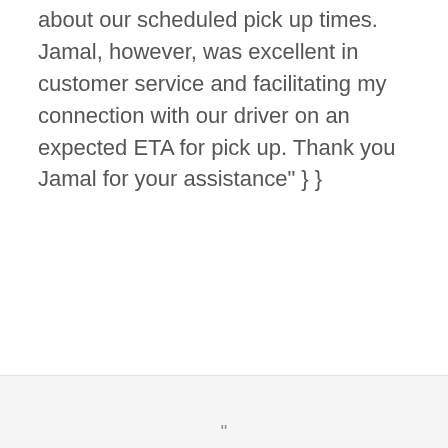about our scheduled pick up times. Jamal, however, was excellent in customer service and facilitating my connection with our driver on an expected ETA for pick up. Thank you Jamal for your assistance" } }
"